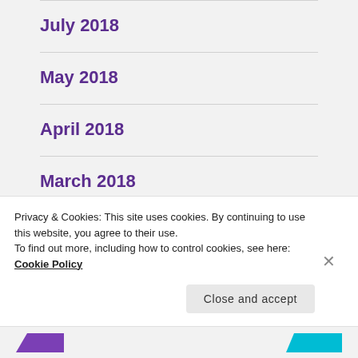July 2018
May 2018
April 2018
March 2018
February 2018
August 2017
Privacy & Cookies: This site uses cookies. By continuing to use this website, you agree to their use.
To find out more, including how to control cookies, see here: Cookie Policy
Close and accept